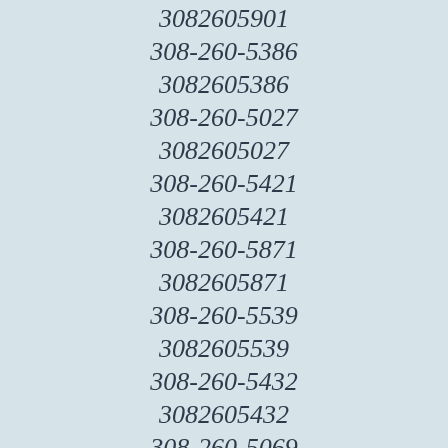3082605901
308-260-5386
3082605386
308-260-5027
3082605027
308-260-5421
3082605421
308-260-5871
3082605871
308-260-5539
3082605539
308-260-5432
3082605432
308-260-5069
3082605069
308-260-5710